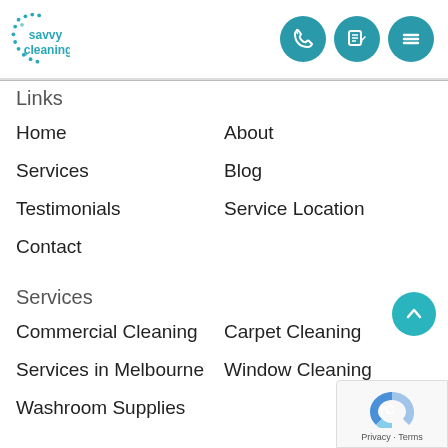[Figure (logo): Savvy Cleaning logo with teal dot pattern and teal text]
[Figure (other): Three teal circular nav icons: phone, edit, menu]
Links
Home
About
Services
Blog
Testimonials
Service Location
Contact
Services
Commercial Cleaning
Carpet Cleaning
Services in Melbourne
Window Cleaning
Washroom Supplies
Contact
Address